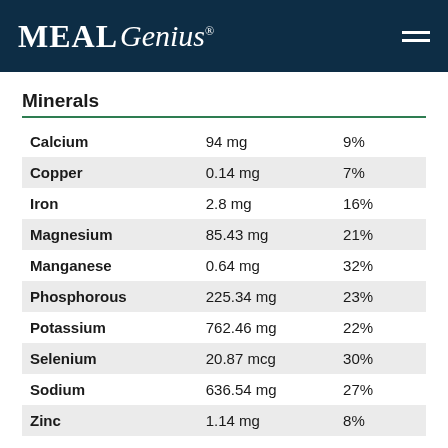MealGenius®
Minerals
| Mineral | Amount | Daily Value |
| --- | --- | --- |
| Calcium | 94 mg | 9% |
| Copper | 0.14 mg | 7% |
| Iron | 2.8 mg | 16% |
| Magnesium | 85.43 mg | 21% |
| Manganese | 0.64 mg | 32% |
| Phosphorous | 225.34 mg | 23% |
| Potassium | 762.46 mg | 22% |
| Selenium | 20.87 mcg | 30% |
| Sodium | 636.54 mg | 27% |
| Zinc | 1.14 mg | 8% |